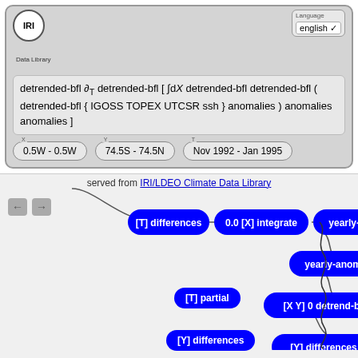[Figure (screenshot): IRI Data Library web interface showing a formula with partial derivative, coordinate selectors, and a flowchart of data processing steps including [T] differences, 0.0 [X] integrate, yearly-anomalies, [X Y] 0 detrend-bfl, [Y] differences, [T] partial, [Y] differences nodes.]
detrended-bfl ∂T detrended-bfl [ ∫dX detrended-bfl detrended-bfl ( detrended-bfl { IGOSS TOPEX UTCSR ssh } anomalies ) anomalies anomalies ]
0.5W - 0.5W
74.5S - 74.5N
Nov 1992 - Jan 1995
served from IRI/LDEO Climate Data Library